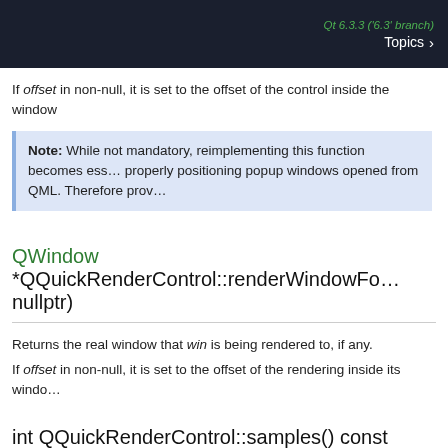Qt 6.3.3 ('6.3' branch)  Topics >
If offset in non-null, it is set to the offset of the control inside the window
Note: While not mandatory, reimplementing this function becomes essential for properly positioning popup windows opened from QML. Therefore prov…
QWindow *QQuickRenderControl::renderWindowFo… nullptr)
Returns the real window that win is being rendered to, if any.
If offset in non-null, it is set to the offset of the rendering inside its window
int QQuickRenderControl::samples() const
Returns the current sample count. 1 or 0 means no multisampling.